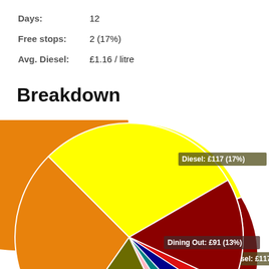Days: 12
Free stops: 2 (17%)
Avg. Diesel: £1.16 / litre
Breakdown
[Figure (pie-chart): Breakdown]